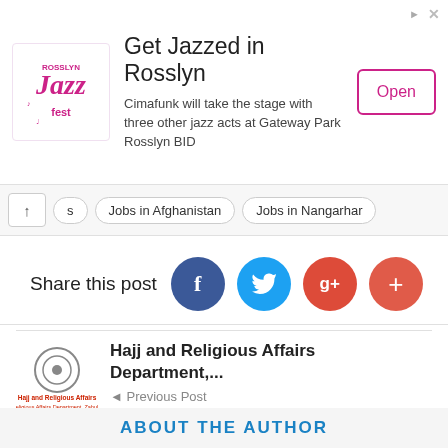[Figure (illustration): Advertisement banner: Rosslyn Jazz Fest logo on left, text 'Get Jazzed in Rosslyn' with subtitle 'Cimafunk will take the stage with three other jazz acts at Gateway Park Rosslyn BID', and an 'Open' button on right]
s  Jobs in Afghanistan  Jobs in Nangarhar
Share this post
[Figure (infographic): Social share buttons: Facebook, Twitter, Google+, and a red plus button]
[Figure (logo): Hajj and Religious Affairs / ASAN logo]
Hajj and Religious Affairs Department,...
Previous Post
Da Afghanistan Bank Southeast Zone...
Next Post
[Figure (logo): Da Afghanistan Bank Southeast Zone / ASAN logo]
ABOUT THE AUTHOR